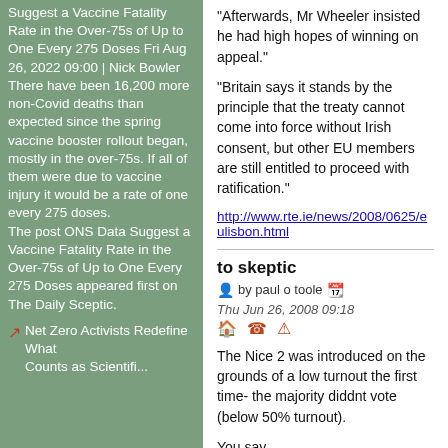Suggest a Vaccine Fatality Rate in the Over-75s of Up to One Every 275 Doses Fri Aug 26, 2022 09:00 | Nick Bowler
There have been 16,200 more non-Covid deaths than expected since the spring vaccine booster rollout began, mostly in the over-75s. If all of them were due to vaccine injury it would be a rate of one every 275 doses.
The post ONS Data Suggest a Vaccine Fatality Rate in the Over-75s of Up to One Every 275 Doses appeared first on The Daily Sceptic.
Net Zero Activists Redefine What Counts as Scientific...
"Afterwards, Mr Wheeler insisted he had high hopes of winning on appeal."
"Britain says it stands by the principle that the treaty cannot come into force without Irish consent, but other EU members are still entitled to proceed with ratification."
http://www.rte.ie/news/2008/0625/eulisbon.html
to skeptic
by paul o toole   Thu Jun 26, 2008 09:18
The Nice 2 was introduced on the grounds of a low turnout the first time- the majority diddnt vote (below 50% turnout).
You say..
...'there is no minimum turn out needed to make a constitutional amendment a valid poll'.... You are the one who is wrong...
Seems that there was in Nice 1. Seems that even now when the majority did vote, our government (and I use that term lightly) sees fit to disregard the will of the people again.